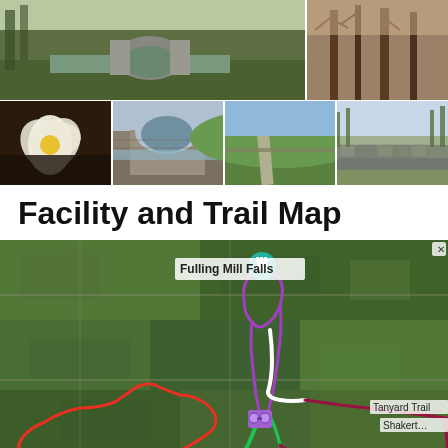[Figure (photo): Photo collage showing outdoor trail scenes: a stone culvert/bridge over a stream with green grass surroundings (large left), trees in winter (right), a white flower close-up (row 2 left), a stone arch bridge (row 2), a path through green fields (row 2), and a stone wall along a trail (row 2 right)]
Facility and Trail Map
[Figure (map): Satellite aerial map showing Fulling Mill Falls location with colored trail overlays: purple loop trail, white trail segment, green trail, red loop trail, dark red/maroon trail. Labels visible: 'Fulling Mill Falls' with teal pin icon, 'Tanyard Trail', 'Shaker' (partially visible). A binoculars icon marker is shown at trail junction.]